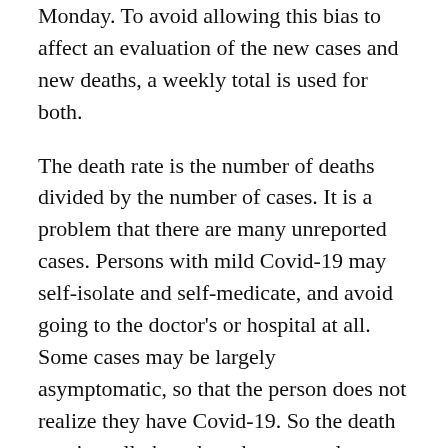Monday. To avoid allowing this bias to affect an evaluation of the new cases and new deaths, a weekly total is used for both.
The death rate is the number of deaths divided by the number of cases. It is a problem that there are many unreported cases. Persons with mild Covid-19 may self-isolate and self-medicate, and avoid going to the doctor's or hospital at all. Some cases may be largely asymptomatic, so that the person does not realize they have Covid-19. So the death rate is really based on the reported cases, and we might say also that it is, in effect, based on the more serious cases. And that is still a useful statistic.
Comparing total deaths to total reported cases, in the